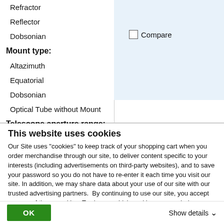Refractor
Reflector
Dobsonian
Mount type:
Altazimuth
Equatorial
Dobsonian
Optical Tube without Mount
Telescope aperture range:
Up to 102mm (Up to 4")
Compare
This website uses cookies
Our Site uses "cookies" to keep track of your shopping cart when you order merchandise through our site, to deliver content specific to your interests (including advertisements on third-party websites), and to save your password so you do not have to re-enter it each time you visit our site. In addition, we may share data about your use of our site with our trusted advertising partners.  By continuing to use our site, you accept our use of these cookies. To change which cookies we use during your visits to our site, click Show details.
OK
Show details